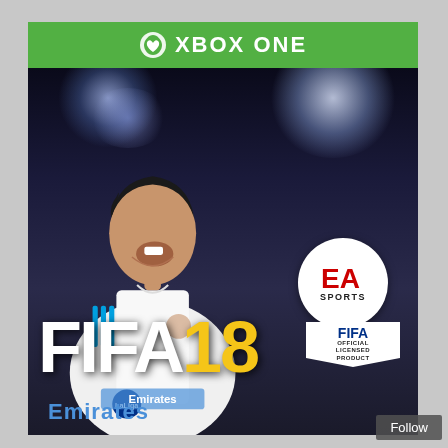[Figure (photo): FIFA 18 Xbox One game cover featuring Cristiano Ronaldo in a Real Madrid white jersey, mouth open in celebration, with stadium lights in background. EA Sports logo (white circle with red EA text), FIFA 18 logo in white and yellow, FIFA Official Licensed Product badge, Emirates sponsor text visible at bottom. Green Xbox One branding bar at top. Follow button at bottom right corner.]